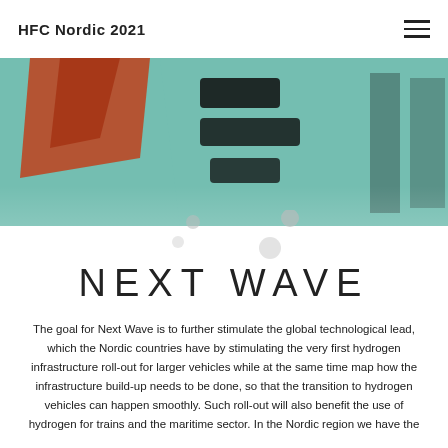HFC Nordic 2021
[Figure (photo): Close-up photo of a colorful map showing teal/green background with bold black text partially visible and orange/red graphic elements]
NEXT WAVE
The goal for Next Wave is to further stimulate the global technological lead, which the Nordic countries have by stimulating the very first hydrogen infrastructure roll-out for larger vehicles while at the same time map how the infrastructure build-up needs to be done, so that the transition to hydrogen vehicles can happen smoothly. Such roll-out will also benefit the use of hydrogen for trains and the maritime sector. In the Nordic region we have the